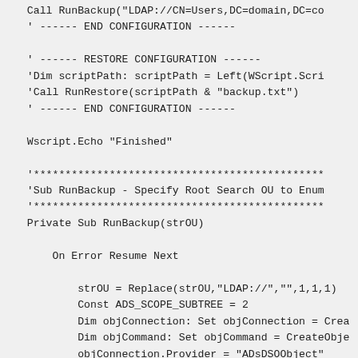Call RunBackup("LDAP://CN=Users,DC=domain,DC=co
' ------ END CONFIGURATION ------

' ------ RESTORE CONFIGURATION ------
'Dim scriptPath: scriptPath = Left(WScript.Scri
'Call RunRestore(scriptPath & "backup.txt")
' ------ END CONFIGURATION ------

Wscript.Echo "Finished"

'**********************************************
'Sub RunBackup - Specify Root Search OU to Enum
'**********************************************
Private Sub RunBackup(strOU)

    On Error Resume Next

        strOU = Replace(strOU,"LDAP://","",1,1,1)
        Const ADS_SCOPE_SUBTREE = 2
        Dim objConnection: Set objConnection = Crea
        Dim objCommand: Set objCommand = CreateObje
        objConnection.Provider = "ADsDSOObject"
        objConnection.Open "Active Directory Provic